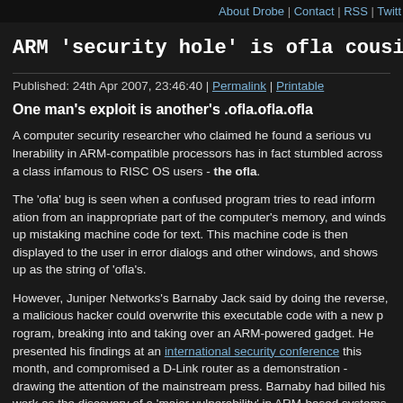About Drobe | Contact | RSS | Twitt...
ARM 'security hole' is ofla cousin
Published: 24th Apr 2007, 23:46:40 | Permalink | Printable
One man's exploit is another's .ofla.ofla.ofla
A computer security researcher who claimed he found a serious vulnerability in ARM-compatible processors has in fact stumbled across a class infamous to RISC OS users - the ofla.
The 'ofla' bug is seen when a confused program tries to read information from an inappropriate part of the computer's memory, and winds up mistaking machine code for text. This machine code is then displayed to the user in error dialogs and other windows, and shows up as the string of 'ofla's.
However, Juniper Networks's Barnaby Jack said by doing the reverse, a malicious hacker could overwrite this executable code with a new program, breaking into and taking over an ARM-powered gadget. He presented his findings at an international security conference this month, and compromised a D-Link router as a demonstration - drawing the attention of the mainstream press. Barnaby had billed his work as the discovery of a 'major vulnerability' in ARM-based systems. ARM remains the popular choice for mobile phones, routers, gadgets and other embedded kit, with over a billion ARM...